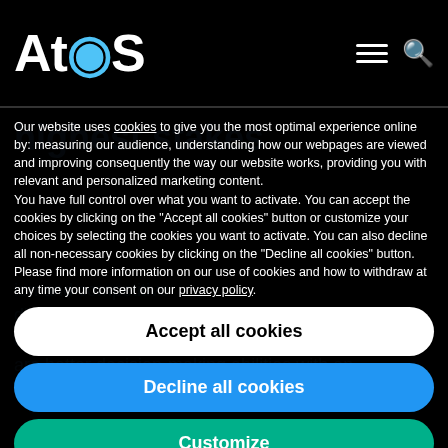Atos
Our website uses cookies to give you the most optimal experience online by: measuring our audience, understanding how our webpages are viewed and improving consequently the way our website works, providing you with relevant and personalized marketing content.
You have full control over what you want to activate. You can accept the cookies by clicking on the "Accept all cookies" button or customize your choices by selecting the cookies you want to activate. You can also decline all non-necessary cookies by clicking on the "Decline all cookies" button. Please find more information on our use of cookies and how to withdraw at any time your consent on our privacy policy.
Accept all cookies
Decline all cookies
Customize
Privacy policy